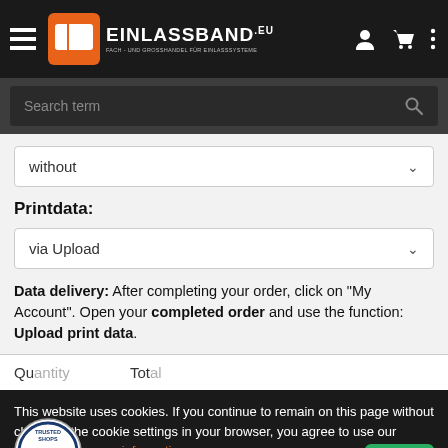[Figure (logo): Einlassband.eu logo with hamburger menu, orange/white logo icon, white text EINLASSBAND.EU, and header icons for account, cart, and more]
[Figure (screenshot): Search bar with placeholder text 'Search term' and search icon on dark background]
without (dropdown)
Printdata:
via Upload (dropdown)
Data delivery: After completing your order, click on "My Account". Open your completed order and use the function: Upload print data.
This website uses cookies. If you continue to remain on this page without changing the cookie settings in your browser, you agree to use our cookies. For more information, see our cookie information